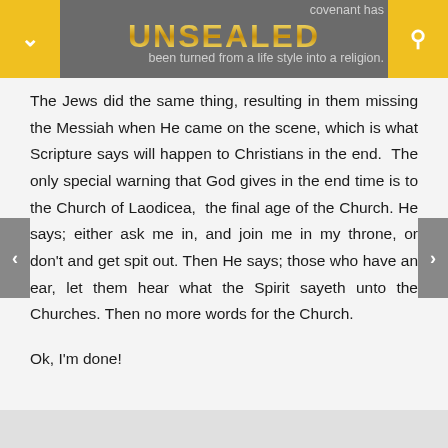UNSEALED — covenant has been turned from a life style into a religion.
The Jews did the same thing, resulting in them missing the Messiah when He came on the scene, which is what Scripture says will happen to Christians in the end. The only special warning that God gives in the end time is to the Church of Laodicea, the final age of the Church. He says; either ask me in, and join me in my throne, or don't and get spit out. Then He says; those who have an ear, let them hear what the Spirit sayeth unto the Churches. Then no more words for the Church.
Ok, I'm done!